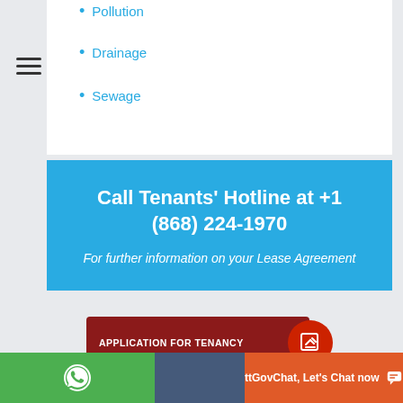Pollution
Drainage
Sewage
Call Tenants' Hotline at +1 (868) 224-1970
For further information on your Lease Agreement
[Figure (infographic): Application for Tenancy button with edit icon on red background]
[Figure (infographic): Partially visible second button on blue background]
[Figure (infographic): Bottom bar with WhatsApp icon (green), dark blue section, and ttGovChat orange section with chat icon]